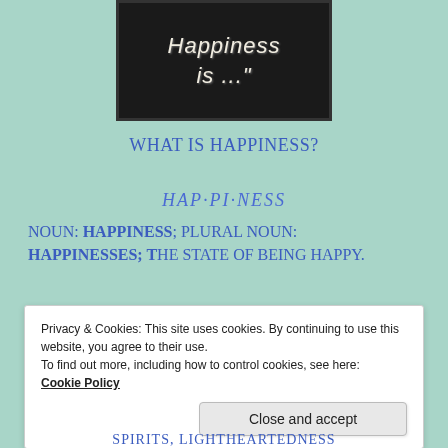[Figure (photo): Chalkboard with text 'Happiness is ...' written in chalk]
WHAT IS HAPPINESS?
HAP·PI·NESS
NOUN: HAPPINESS; PLURAL NOUN: HAPPINESSES; The state of being happy.
Privacy & Cookies: This site uses cookies. By continuing to use this website, you agree to their use.
To find out more, including how to control cookies, see here:
Cookie Policy
Close and accept
SPIRITS, LIGHTHEARTEDNESS